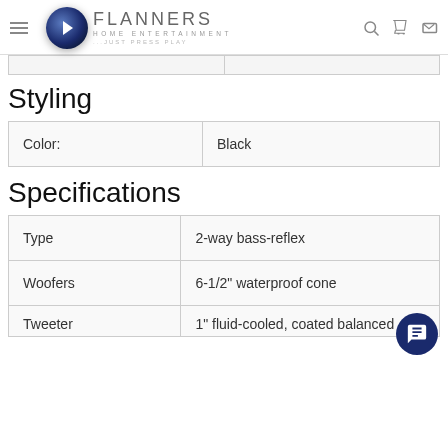Flanners Home Entertainment — navigation header
Styling
| Color: | Black |
| --- | --- |
| Color: | Black |
Specifications
| Type | Woofers | Tweeter |
| --- | --- | --- |
| Type | 2-way bass-reflex |
| Woofers | 6-1/2" waterproof cone |
| Tweeter | 1" fluid-cooled, coated balanced |